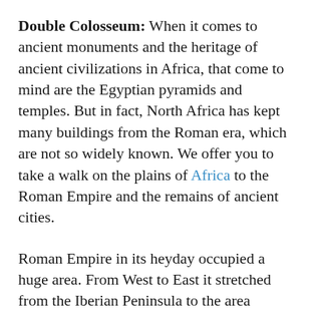Double Colosseum: When it comes to ancient monuments and the heritage of ancient civilizations in Africa, that come to mind are the Egyptian pyramids and temples. But in fact, North Africa has kept many buildings from the Roman era, which are not so widely known. We offer you to take a walk on the plains of Africa to the Roman Empire and the remains of ancient cities.
Roman Empire in its heyday occupied a huge area. From West to East it stretched from the Iberian Peninsula to the area between the Tigris and Euphrates, the Northern border passed along the British Isles, and the South of the Empire consisted of the African provinces located along the entire Mediterranean coast of Africa. The Roman Empire is long gone, and buildings of the ancient masters